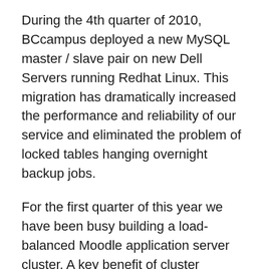During the 4th quarter of 2010, BCcampus deployed a new MySQL master / slave pair on new Dell Servers running Redhat Linux. This migration has dramatically increased the performance and reliability of our service and eliminated the problem of locked tables hanging overnight backup jobs.
For the first quarter of this year we have been busy building a load-balanced Moodle application server cluster. A key benefit of cluster infrastructure is the ability to add servers as the shared services load grows. We are now starting to migrate Vancouver Island University over to the new Moodle application server cluster.
Upcoming upgrades (later this year) will include new higher performance load balancers plus a storage